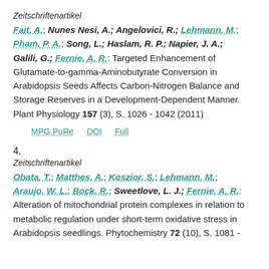Zeitschriftenartikel
Fait, A.; Nunes Nesi, A.; Angelovici, R.; Lehmann, M.; Pham, P. A.; Song, L.; Haslam, R. P.; Napier, J. A.; Galili, G.; Fernie, A. R.: Targeted Enhancement of Glutamate-to-gamma-Aminobutyrate Conversion in Arabidopsis Seeds Affects Carbon-Nitrogen Balance and Storage Reserves in a Development-Dependent Manner. Plant Physiology 157 (3), S. 1026 - 1042 (2011)
MPG.PuRe   DOI   Full
4.
Zeitschriftenartikel
Obata, T.; Matthes, A.; Koszior, S.; Lehmann, M.; Araujo, W. L.; Bock, R.; Sweetlove, L. J.; Fernie, A. R.: Alteration of mitochondrial protein complexes in relation to metabolic regulation under short-term oxidative stress in Arabidopsis seedlings. Phytochemistry 72 (10), S. 1081 -